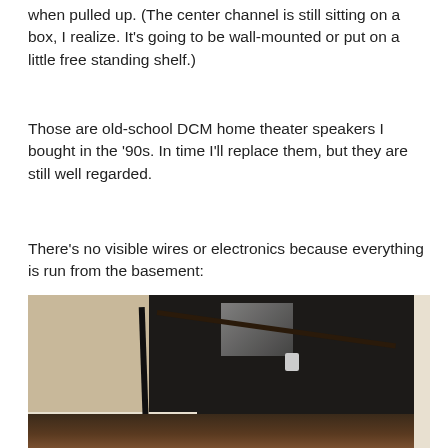when pulled up. (The center channel is still sitting on a box, I realize. It's going to be wall-mounted or put on a little free standing shelf.)
Those are old-school DCM home theater speakers I bought in the '90s. In time I'll replace them, but they are still well regarded.
There's no visible wires or electronics because everything is run from the basement:
[Figure (photo): A dark photograph of a staircase going down to a basement. The wall on the left is a tan/beige color with white baseboard trim. The staircase area is very dark. There appears to be an electrical outlet visible on the wall. The right side shows dark wood stair railing or trim.]